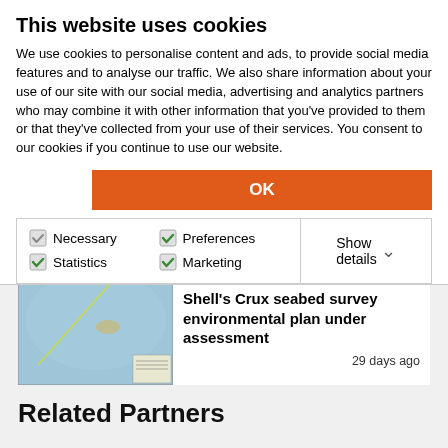This website uses cookies
We use cookies to personalise content and ads, to provide social media features and to analyse our traffic. We also share information about your use of our site with our social media, advertising and analytics partners who may combine it with other information that you've provided to them or that they've collected from your use of their services. You consent to our cookies if you continue to use our website.
OK
Necessary  Preferences  Statistics  Marketing  Show details
BUSINESS & FINANCE
Shell's Crux seabed survey environmental plan under assessment
29 days ago
Related Partners